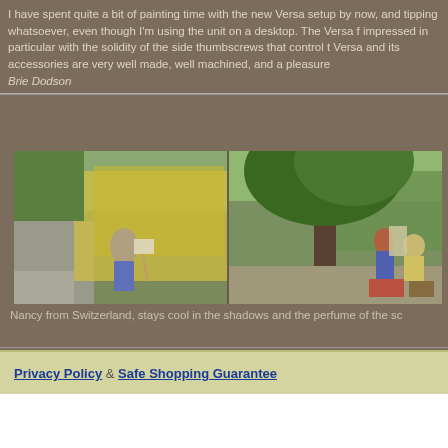I have spent quite a bit of painting time with the new Versa setup by now, and tipping whatsoever, even though I'm using the unit on a desktop. The Versa f impressed in particular with the solidity of the side thumbscrews that control t Versa and its accessories are very well made, well machined, and a pleasure Brie Dodson
[Figure (photo): Two side-by-side outdoor photos of artists painting en plein air. Left photo shows a woman in a hat sitting and painting by a roadside with yellow flowering bushes and green hills. Right photo shows two people painting under a large tree with green hills in the background.]
Nancy from Switzerland, stays cool in the shadows and the perfume of the sc
Privacy Policy & Safe Shopping Guarantee